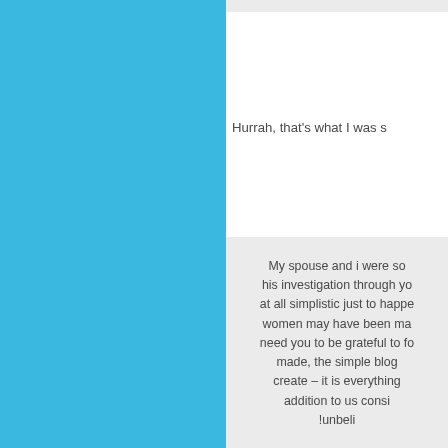[Figure (other): Blue decorative panel on left half of page]
Hurrah, that's what I was s
My spouse and i were so his investigation through yo at all simplistic just to happe women may have been ma need you to be grateful to fo made, the simple blog create – it is everything addition to us consi !unbeli
Needed to draft you a again with your unique s This has been so treme deliver unreservedly exact ebook to make some p have tried it in the event you easy way to fully grasp the m